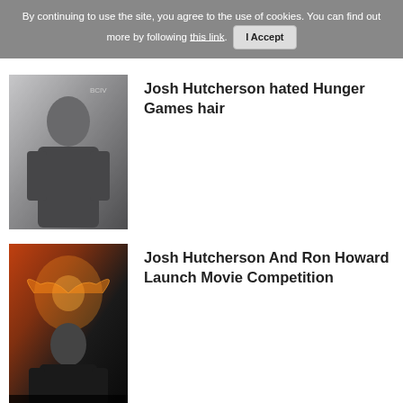By continuing to use the site, you agree to the use of cookies. You can find out more by following this link. I Accept
[Figure (photo): Josh Hutcherson standing in a black suit at what appears to be a red carpet event, with other people visible in the background]
Josh Hutcherson hated Hunger Games hair
[Figure (photo): Josh Hutcherson standing in front of a Mockingjay movie poster backdrop, wearing a dark suit, with 'MO' and 'SJA' text visible on the banner]
Josh Hutcherson And Ron Howard Launch Movie Competition